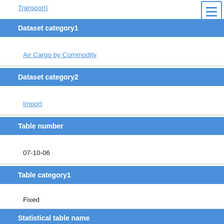Transport)
Dataset category1
Air Cargo by Commodity
Dataset category2
Import
Table number
07-10-06
Table category1
Fixed
Statistical table name
2007/10. Air Cargo by Commodity (Import Fixed annual) Section VI Chapter 28-38